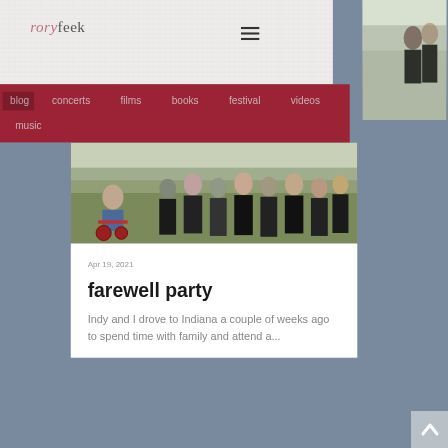rory feek
[Figure (screenshot): Navigation menu icon (hamburger) with three horizontal lines]
[Figure (photo): Partial photo of group of people in formal attire standing on grass, partially visible on right side]
blog  concerts  films  books  festival  videos  music
[Figure (photo): Group photo of people in formal attire (some in black gowns, one person in wheelchair) standing on green grass outdoors]
Apr 19, 2021
farewell party
Indy and I drove to Indiana a couple of weeks ago to spend time with family and attend a...